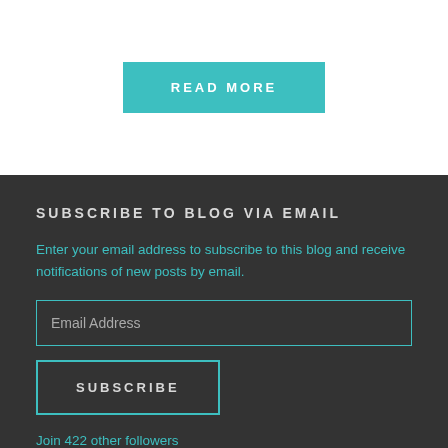READ MORE
SUBSCRIBE TO BLOG VIA EMAIL
Enter your email address to subscribe to this blog and receive notifications of new posts by email.
Email Address
SUBSCRIBE
Join 422 other followers